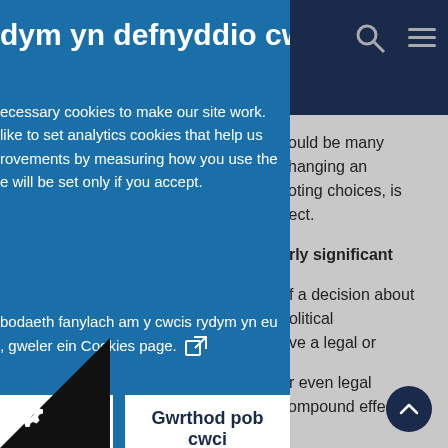dym yn defnyddio cwcis
ecessary cookies to make our site work. like to set analytics cookies that help us rovements by measuring how you use the e will be set only if you accept.
bodaeth fanylach am y cwcis rydym yn eu , gweler ein Cookies page.
n pob cwci   Gwrthod pob cwci
ngenrheidiol
ngenrheidiol yn caniatáu i'n craidd weithio, fel diogelwch, rheoli ygyrchedd. Gallwch analluogi'r
could be many changing an voting choices, is ffect.
arly significant
of a decision about political ave a legal or
or even legal compound effect